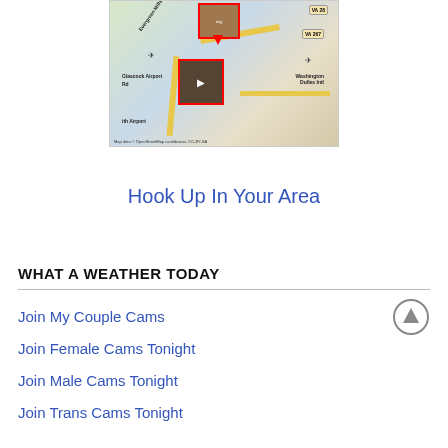[Figure (map): A map showing the area around Washington Dulles International Airport and Glascock Airport, with red-bordered photo pins placed on the map. Map data credited to OpenStreetMap contributors, CC-BY-SA.]
Hook Up In Your Area
WHAT A WEATHER TODAY
Join My Couple Cams
Join Female Cams Tonight
Join Male Cams Tonight
Join Trans Cams Tonight